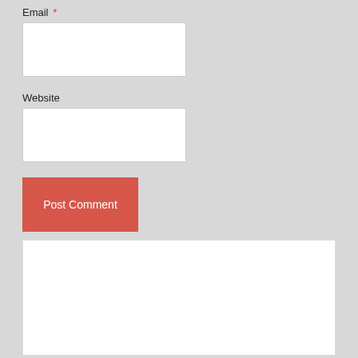Email *
[Figure (screenshot): Email text input field, empty, with border]
Website
[Figure (screenshot): Website text input field, empty, with border]
[Figure (screenshot): Post Comment button, red/salmon background, white text]
[Figure (illustration): Cardinal Bluff logo with two cardinal birds illustration and italic text 'Cardinal Bluff']